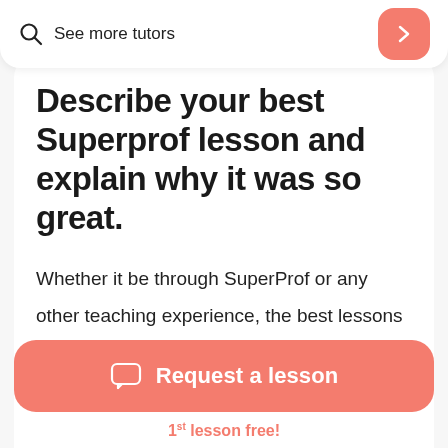See more tutors
Describe your best Superprof lesson and explain why it was so great.
Whether it be through SuperProf or any other teaching experience, the best lessons are those where it is clear that the student not only "does" the task assigned, but
Request a lesson
1st lesson free!